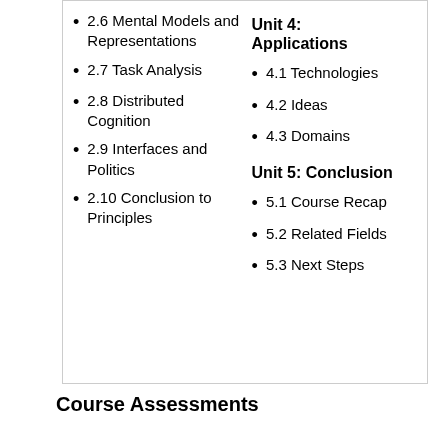2.6 Mental Models and Representations
2.7 Task Analysis
2.8 Distributed Cognition
2.9 Interfaces and Politics
2.10 Conclusion to Principles
Unit 4: Applications
4.1 Technologies
4.2 Ideas
4.3 Domains
Unit 5: Conclusion
5.1 Course Recap
5.2 Related Fields
5.3 Next Steps
Course Assessments